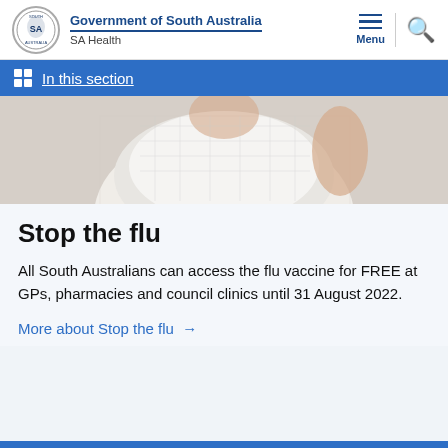Government of South Australia — SA Health
In this section
[Figure (photo): Partial view of a woman in a white patterned top, upper body, photographed from behind/side]
Stop the flu
All South Australians can access the flu vaccine for FREE at GPs, pharmacies and council clinics until 31 August 2022.
More about Stop the flu →